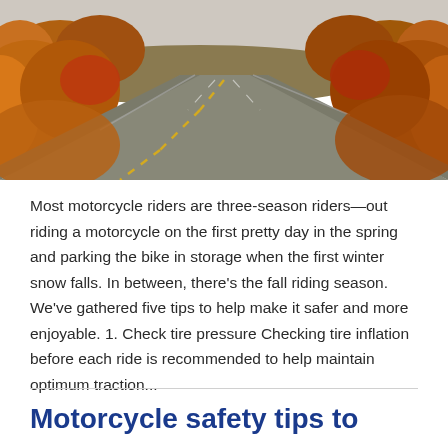[Figure (photo): Aerial view of a winding two-lane road through autumn fall foliage trees with yellow and red leaves]
Most motorcycle riders are three-season riders—out riding a motorcycle on the first pretty day in the spring and parking the bike in storage when the first winter snow falls. In between, there's the fall riding season. We've gathered five tips to help make it safer and more enjoyable. 1. Check tire pressure Checking tire inflation before each ride is recommended to help maintain optimum traction...
Motorcycle safety tips to